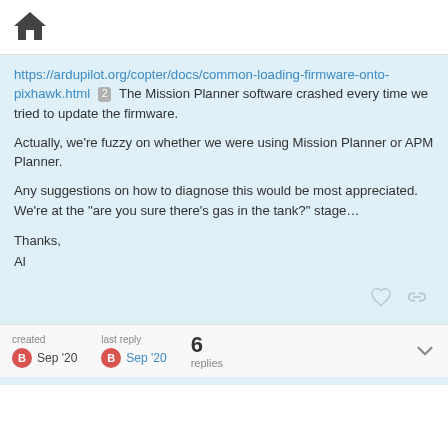[Figure (illustration): Home icon (house silhouette) in dark gray]
https://ardupilot.org/copter/docs/common-loading-firmware-onto-pixhawk.html 2 The Mission Planner software crashed every time we tried to update the firmware.

Actually, we're fuzzy on whether we were using Mission Planner or APM Planner.

Any suggestions on how to diagnose this would be most appreciated. We're at the "are you sure there's gas in the tank?" stage…

Thanks,
Al
created Sep '20  last reply Sep '20  6 replies